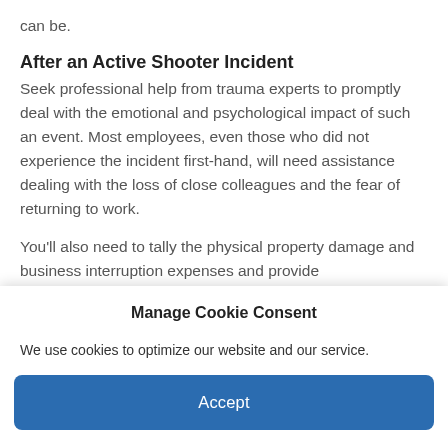can be.
After an Active Shooter Incident
Seek professional help from trauma experts to promptly deal with the emotional and psychological impact of such an event. Most employees, even those who did not experience the incident first-hand, will need assistance dealing with the loss of close colleagues and the fear of returning to work.
You'll also need to tally the physical property damage and business interruption expenses and provide
Manage Cookie Consent
We use cookies to optimize our website and our service.
Accept